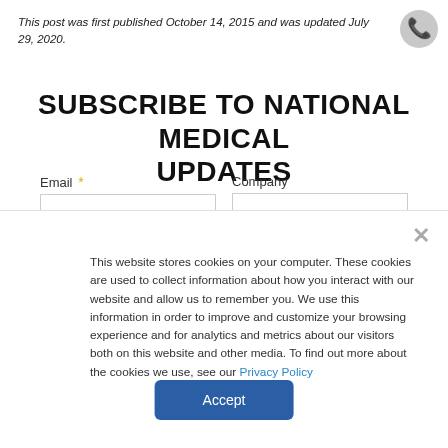This post was first published October 14, 2015 and was updated July 29, 2020.
SUBSCRIBE TO NATIONAL MEDICAL UPDATES
Email * | Company (form fields)
This website stores cookies on your computer. These cookies are used to collect information about how you interact with our website and allow us to remember you. We use this information in order to improve and customize your browsing experience and for analytics and metrics about our visitors both on this website and other media. To find out more about the cookies we use, see our Privacy Policy
Accept